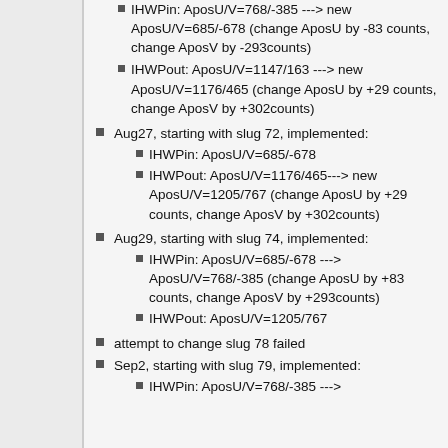IHWPin: AposU/V=768/-385 ---> new AposU/V=685/-678 (change AposU by -83 counts, change AposV by -293counts)
IHWPout: AposU/V=1147/163 ---> new AposU/V=1176/465 (change AposU by +29 counts, change AposV by +302counts)
Aug27, starting with slug 72, implemented:
IHWPin: AposU/V=685/-678
IHWPout: AposU/V=1176/465---> new AposU/V=1205/767 (change AposU by +29 counts, change AposV by +302counts)
Aug29, starting with slug 74, implemented:
IHWPin: AposU/V=685/-678 ---> AposU/V=768/-385 (change AposU by +83 counts, change AposV by +293counts)
IHWPout: AposU/V=1205/767
attempt to change slug 78 failed
Sep2, starting with slug 79, implemented:
IHWPin: AposU/V=768/-385 --->